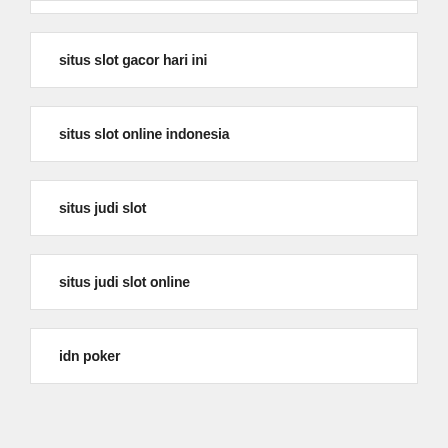situs slot gacor hari ini
situs slot online indonesia
situs judi slot
situs judi slot online
idn poker